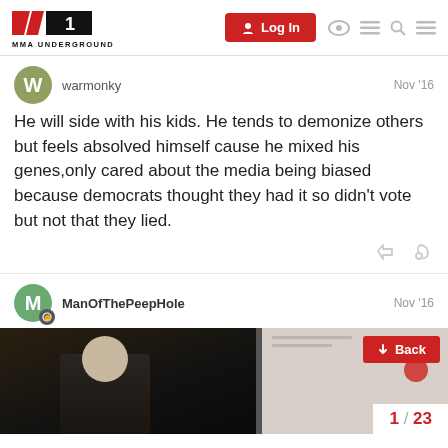MMA UNDERGROUND — Log In
warmonky Nov '16
He will side with his kids. He tends to demonize others but feels absolved himself cause he mixed his genes,only cared about the media being biased because democrats thought they had it so didn't vote but not that they lied.
ManOfThePeepHole Nov '16
[Figure (photo): Screenshot of MMA Underground forum with photo of a bald man in dark setting, Back button in red top right, page indicator 1/23 bottom right]